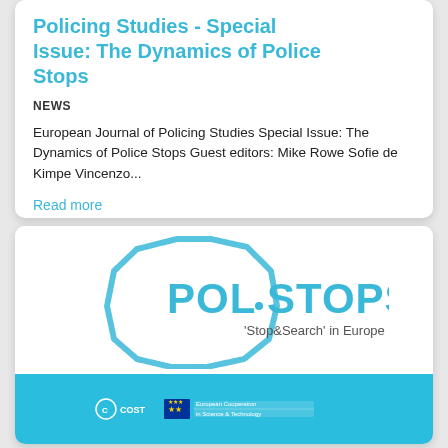Policing Studies - Special Issue: The Dynamics of Police Stops
NEWS
European Journal of Policing Studies Special Issue: The Dynamics of Police Stops Guest editors: Mike Rowe Sofie de Kimpe Vincenzo...
Read more
[Figure (logo): POLSTOPS logo with octagon outline and text 'Stop&Search' in Europe, with COST and EU funding logos on a blue bar]